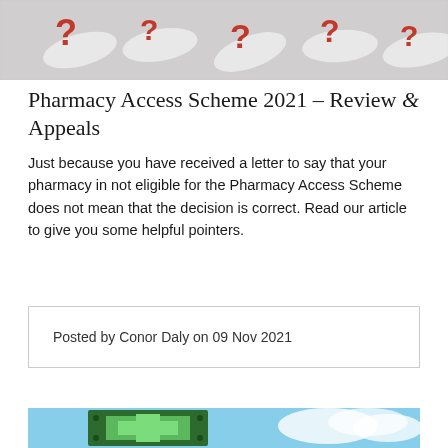[Figure (photo): Top banner image showing red question mark shapes and white pill capsules on a textured surface]
Pharmacy Access Scheme 2021 – Review & Appeals
Just because you have received a letter to say that your pharmacy in not eligible for the Pharmacy Access Scheme does not mean that the decision is correct. Read our article to give you some helpful pointers.
Posted by Conor Daly on 09 Nov 2021
[Figure (photo): Bottom image showing a green illuminated pharmacy cross sign against a cloudy blue sky background]